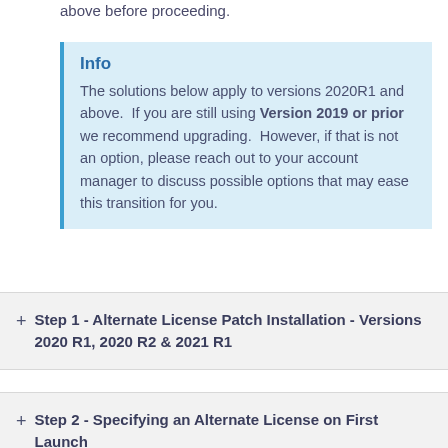above before proceeding.
Info
The solutions below apply to versions 2020R1 and above.  If you are still using Version 2019 or prior we recommend upgrading.  However, if that is not an option, please reach out to your account manager to discuss possible options that may ease this transition for you.
Step 1 - Alternate License Patch Installation - Versions 2020 R1, 2020 R2 & 2021 R1
Step 2 - Specifying an Alternate License on First Launch